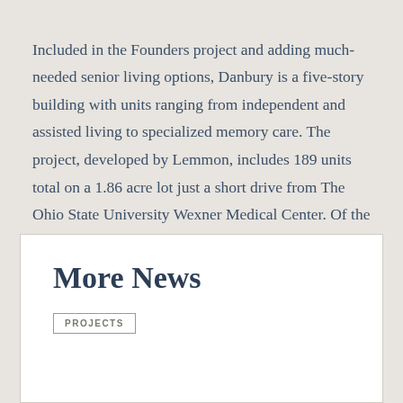Included in the Founders project and adding much-needed senior living options, Danbury is a five-story building with units ranging from independent and assisted living to specialized memory care. The project, developed by Lemmon, includes 189 units total on a 1.86 acre lot just a short drive from The Ohio State University Wexner Medical Center. Of the total $45 million investment, $37 million was financed. Learn more about the Danbury project.
More News
PROJECTS